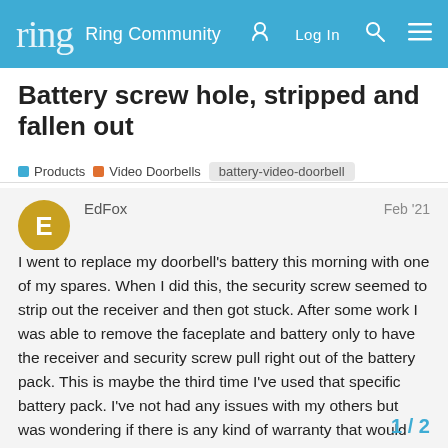ring  Ring Community  Log In
Battery screw hole, stripped and fallen out
Products  Video Doorbells  battery-video-doorbell
EdFox  Feb '21
I went to replace my doorbell's battery this morning with one of my spares. When I did this, the security screw seemed to strip out the receiver and then got stuck. After some work I was able to remove the faceplate and battery only to have the receiver and security screw pull right out of the battery pack. This is maybe the third time I've used that specific battery pack. I've not had any issues with my others but was wondering if there is any kind of warranty that would cover the battery pack so I might get a replacen pictures of the pack in question.
1 / 2